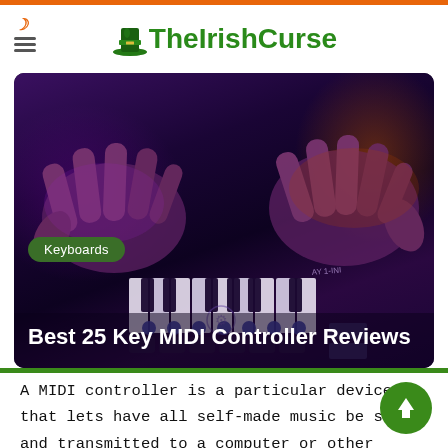TheIrishCurse
[Figure (photo): Hands playing a 25-key MIDI controller keyboard, lit with purple and orange neon lighting, with knobs and pads visible on the controller.]
Best 25 Key MIDI Controller Reviews
A MIDI controller is a particular device that lets have all self-made music be saved and transmitted to a computer or other controlled device (sampler, sequencer). It isn't easy to choose the best 25 key